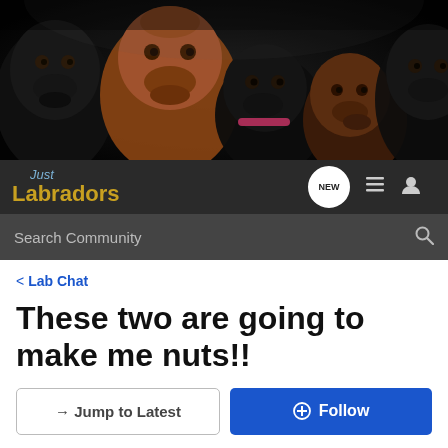[Figure (photo): Banner photo of five Labrador dogs (black, golden/brown, black puppy, chocolate puppy, black puppy) against a dark background]
Just Labradors
Search Community
< Lab Chat
These two are going to make me nuts!!
→ Jump to Latest
+ Follow
1 - 7 of 7 Posts